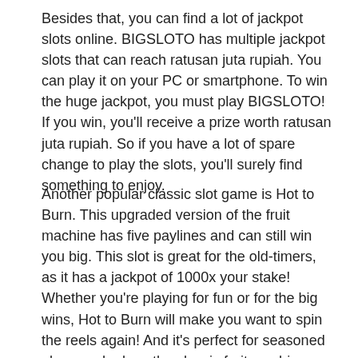Besides that, you can find a lot of jackpot slots online. BIGSLOTO has multiple jackpot slots that can reach ratusan juta rupiah. You can play it on your PC or smartphone. To win the huge jackpot, you must play BIGSLOTO! If you win, you'll receive a prize worth ratusan juta rupiah. So if you have a lot of spare change to play the slots, you'll surely find something to enjoy.
Another popular classic slot game is Hot to Burn. This upgraded version of the fruit machine has five paylines and can still win you big. This slot is great for the old-timers, as it has a jackpot of 1000x your stake! Whether you're playing for fun or for the big wins, Hot to Burn will make you want to spin the reels again! And it's perfect for seasoned players who love the classic fruit machine.